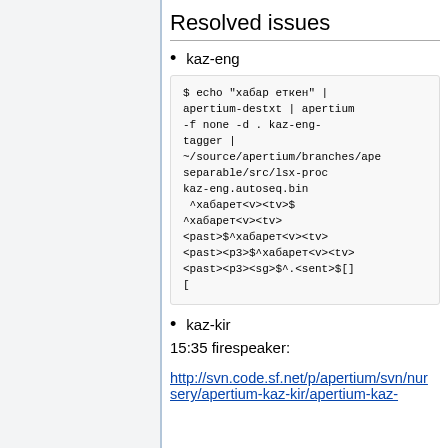Resolved issues
kaz-eng
[Figure (screenshot): Code block showing terminal command: $ echo "хабар еткен" | apertium-destxt | apertium -f none -d . kaz-eng-tagger | ~/source/apertium/branches/apertium-separable/src/lsx-proc kaz-eng.autoseq.bin followed by output lines: ^хабарет<v><tv>$ ^хабарет<v><tv><past>$^хабарет<v><tv><past><p3>$^хабарет<v><tv><past><p3><sg>$^.<sent>$[]  []
kaz-kir
15:35 firespeaker:
http://svn.code.sf.net/p/apertium/svn/nursery/apertium-kaz-kir/apertium-kaz-